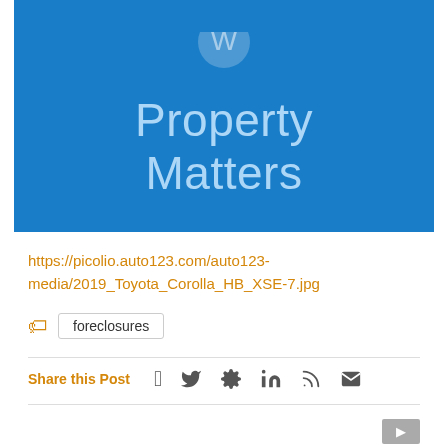[Figure (illustration): Blue background image with white circular icon at top and large light blue text reading 'Property Matters']
https://picolio.auto123.com/auto123-media/2019_Toyota_Corolla_HB_XSE-7.jpg
foreclosures (tag)
Share this Post
Social share icons: Facebook, Twitter, Pinterest, LinkedIn, RSS, Email